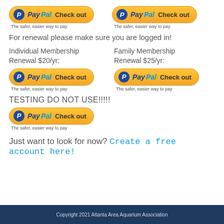[Figure (logo): PayPal Check out button (top left) with tagline 'The safer, easier way to pay']
[Figure (logo): PayPal Check out button (top right) with tagline 'The safer, easier way to pay']
For renewal please make sure you are logged in!
Individual Membership Renewal $20/yr:
[Figure (logo): PayPal Check out button (Individual Membership) with tagline 'The safer, easier way to pay']
Family Membership Renewal $25/yr:
[Figure (logo): PayPal Check out button (Family Membership) with tagline 'The safer, easier way to pay']
TESTING DO NOT USE!!!!!
[Figure (logo): PayPal Check out button (Testing) with tagline 'The safer, easier way to pay']
Just want to look for now? Create a free account here!
Copyright 2021 Atlanta Area Aquarium Association